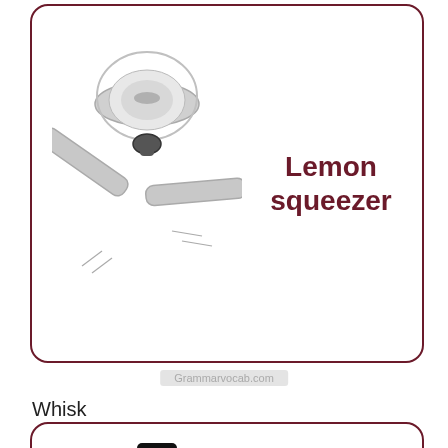[Figure (photo): A silver metal lemon squeezer tool with handles]
Lemon squeezer
Grammarvocab.com
Whisk
[Figure (photo): A Jack Daniel's Tennessee Whiskey bottle]
Whisk